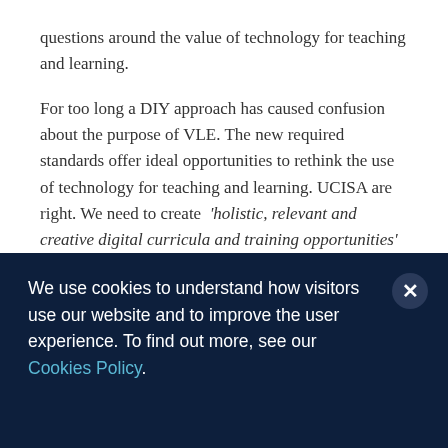questions around the value of technology for teaching and learning.

For too long a DIY approach has caused confusion about the purpose of VLE. The new required standards offer ideal opportunities to rethink the use of technology for teaching and learning. UCISA are right. We need to create ‘holistic, relevant and creative digital curricula and training opportunities’ and EDEU are already looking to start discussions with staff who teach and support learning about
We use cookies to understand how visitors use our website and to improve the user experience. To find out more, see our Cookies Policy.